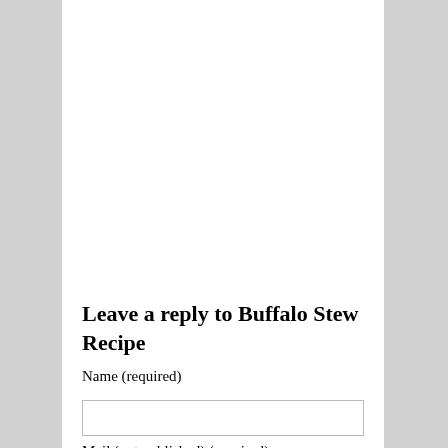Leave a reply to Buffalo Stew Recipe
Name (required)
Mail (not published) (required)